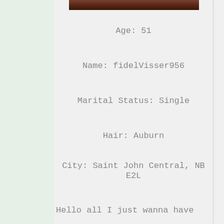[Figure (photo): Partial photo strip at top of profile content area, dark brown/auburn tones]
Age: 51
Name: fidelVisser956
Marital Status: Single
Hair: Auburn
City: Saint John Central, NB E2L
Hello all I just wanna have